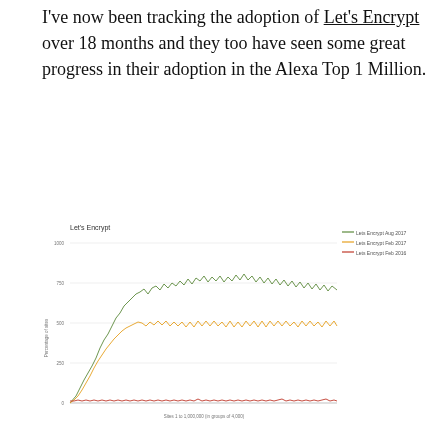I've now been tracking the adoption of Let's Encrypt over 18 months and they too have seen some great progress in their adoption in the Alexa Top 1 Million.
[Figure (line-chart): Line chart showing Let's Encrypt adoption over time with three series: Lets Encrypt Aug 2017 (green, highest), Lets Encrypt Feb 2017 (orange, middle), and Lets Encrypt Feb 2016 (red, lowest/flat). X-axis: Sites 1 to 1,000,000 in groups of 4,000. Y-axis: Percentage of sites.]